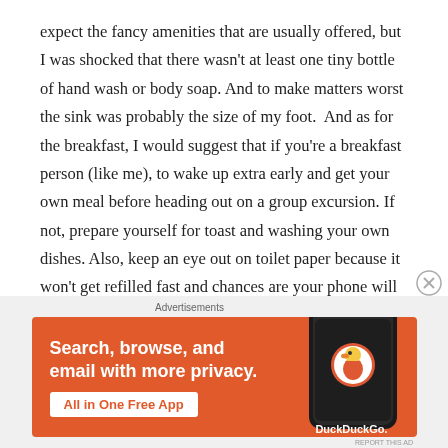expect the fancy amenities that are usually offered, but I was shocked that there wasn't at least one tiny bottle of hand wash or body soap. And to make matters worst the sink was probably the size of my foot.  And as for the breakfast, I would suggest that if you're a breakfast person (like me), to wake up extra early and get your own meal before heading out on a group excursion. If not, prepare yourself for toast and washing your own dishes. Also, keep an eye out on toilet paper because it won't get refilled fast and chances are your phone will stop charging throughout the night because the
[Figure (infographic): DuckDuckGo advertisement banner with orange background. Left side shows bold white text: 'Search, browse, and email with more privacy.' with a white button reading 'All in One Free App'. Right side shows a dark smartphone with the DuckDuckGo duck logo and 'DuckDuckGo.' text below. Top right has a close (X) button. Above the banner is a small gray 'Advertisements' label.]